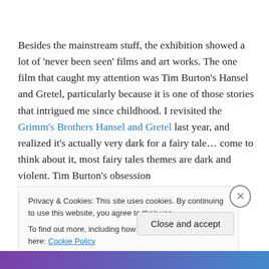Besides the mainstream stuff, the exhibition showed a lot of 'never been seen' films and art works. The one film that caught my attention was Tim Burton's Hansel and Gretel, particularly because it is one of those stories that intrigued me since childhood. I revisited the Grimm's Brothers Hansel and Gretel last year, and realized it's actually very dark for a fairy tale… come to think about it, most fairy tales themes are dark and violent. Tim Burton's obsession
Privacy & Cookies: This site uses cookies. By continuing to use this website, you agree to their use.
To find out more, including how to control cookies, see here: Cookie Policy
Close and accept